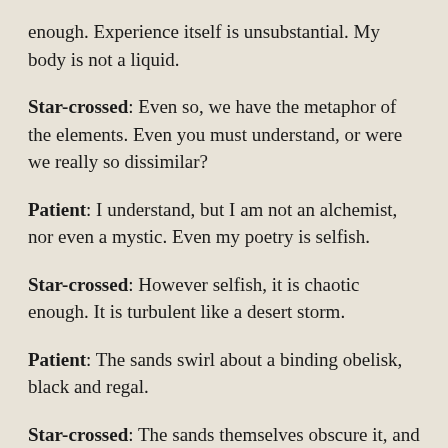enough. Experience itself is unsubstantial. My body is not a liquid.
Star-crossed: Even so, we have the metaphor of the elements. Even you must understand, or were we really so dissimilar?
Patient: I understand, but I am not an alchemist, nor even a mystic. Even my poetry is selfish.
Star-crossed: However selfish, it is chaotic enough. It is turbulent like a desert storm.
Patient: The sands swirl about a binding obelisk, black and regal.
Star-crossed: The sands themselves obscure it, and wear it away.